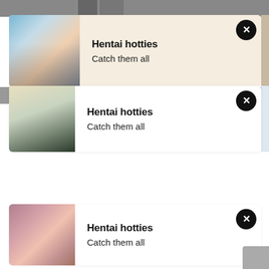[Figure (screenshot): Mobile app notification cards showing 'Hentai hotties - Catch them all' ads with anime-style artwork. Three notification cards are visible, each with an anime character image on the left, bold title 'Hentai hotties' and subtitle 'Catch them all', and a black circular X dismiss button in the top right corner.]
Hentai hotties
Catch them all
Hentai hotties
Catch them all
Hentai hotties
Catch them all